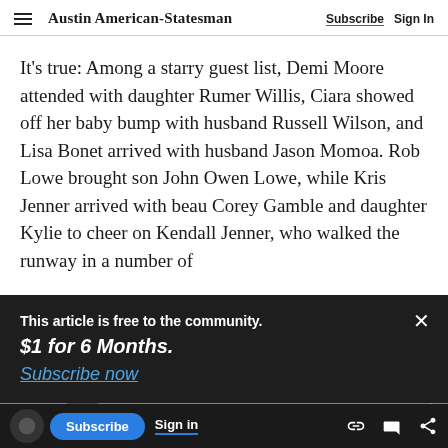Austin American-Statesman  Subscribe  Sign In
It's true: Among a starry guest list, Demi Moore attended with daughter Rumer Willis, Ciara showed off her baby bump with husband Russell Wilson, and Lisa Bonet arrived with husband Jason Momoa. Rob Lowe brought son John Owen Lowe, while Kris Jenner arrived with beau Corey Gamble and daughter Kylie to cheer on Kendall Jenner, who walked the runway in a number of
This article is free to the community.
$1 for 6 Months.
Subscribe now
[Figure (infographic): Glassdoor advertisement banner with green background and person photo on right side]
Subscribe  Sign in
LUGARES PARA TRABAJAR